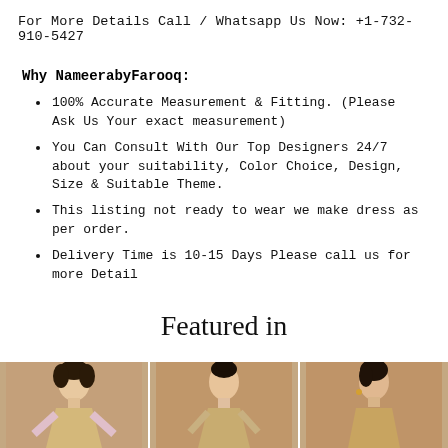For More Details Call / Whatsapp Us Now: +1-732-910-5427
Why NameerabyFarooq:
100% Accurate Measurement & Fitting. (Please Ask Us Your exact measurement)
You Can Consult With Our Top Designers 24/7 about your suitability, Color Choice, Design, Size & Suitable Theme.
This listing not ready to wear we make dress as per order.
Delivery Time is 10-15 Days Please call us for more Detail
Featured in
[Figure (photo): Three fashion model photos side by side showing women in traditional/formal attire against a warm brown background]